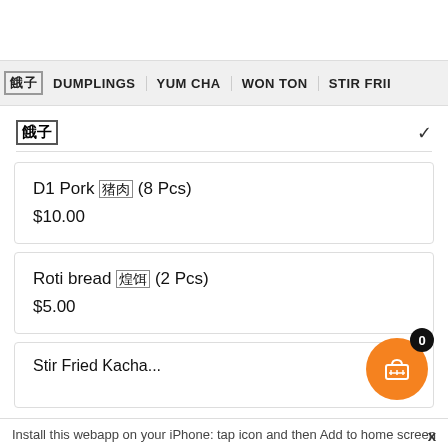餃子 | DUMPLINGS | YUM CHA | WON TON | STIR FRII
餃子 ∨
D1 Pork 猪肉 (8 Pcs)
$10.00
Roti bread 煎饼 (2 Pcs)
$5.00
Stir Fried Kacha...
Install this webapp on your iPhone:   tap icon and then Add to home screen   x